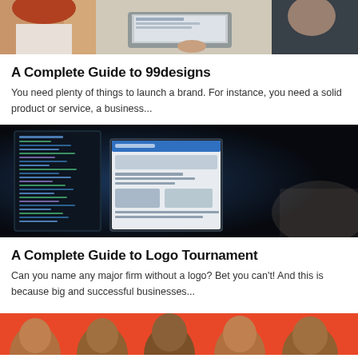[Figure (photo): Top portion of a photo showing two people at a laptop in a meeting/work setting, cropped at top of page]
A Complete Guide to 99designs
You need plenty of things to launch a brand. For instance, you need a solid product or service, a business...
[Figure (photo): Photo of computer screens showing a design/development workspace with code and website mockups in a dark environment]
A Complete Guide to Logo Tournament
Can you name any major firm without a logo? Bet you can't! And this is because big and successful businesses...
[Figure (photo): Bottom partial photo showing multiple people on a red/orange background, partially cropped at bottom of page]